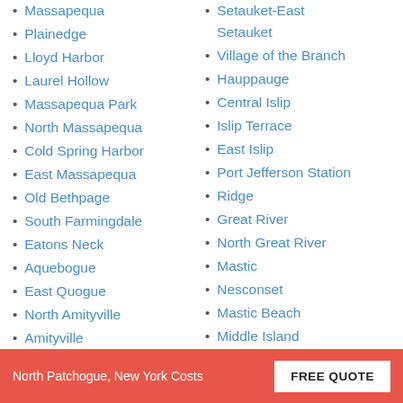Massapequa
Plainedge
Lloyd Harbor
Laurel Hollow
Massapequa Park
North Massapequa
Cold Spring Harbor
East Massapequa
Old Bethpage
South Farmingdale
Eatons Neck
Aquebogue
East Quogue
North Amityville
Amityville
Huntington Bay
Setauket-East Setauket
Village of the Branch
Hauppauge
Central Islip
Islip Terrace
East Islip
Port Jefferson Station
Ridge
Great River
North Great River
Mastic
Nesconset
Mastic Beach
Middle Island
Lake Ronkonkoma
North Patchogue, New York Costs | FREE QUOTE